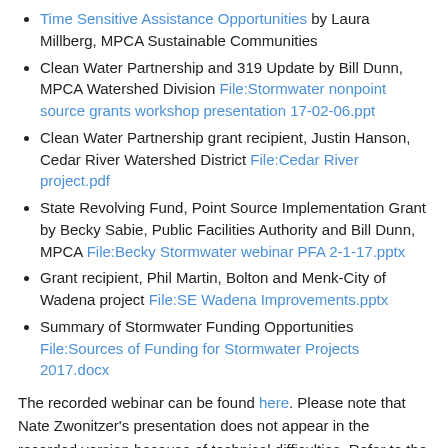Time Sensitive Assistance Opportunities by Laura Millberg, MPCA Sustainable Communities
Clean Water Partnership and 319 Update by Bill Dunn, MPCA Watershed Division File:Stormwater nonpoint source grants workshop presentation 17-02-06.ppt
Clean Water Partnership grant recipient, Justin Hanson, Cedar River Watershed District File:Cedar River project.pdf
State Revolving Fund, Point Source Implementation Grant by Becky Sabie, Public Facilities Authority and Bill Dunn, MPCA File:Becky Stormwater webinar PFA 2-1-17.pptx
Grant recipient, Phil Martin, Bolton and Menk-City of Wadena project File:SE Wadena Improvements.pptx
Summary of Stormwater Funding Opportunities File:Sources of Funding for Stormwater Projects 2017.docx
The recorded webinar can be found here. Please note that Nate Zwonitzer's presentation does not appear in the recorded version because of technical difficulties. Refer to the power point presentation listed above for information about this project.
Recently Funded projects